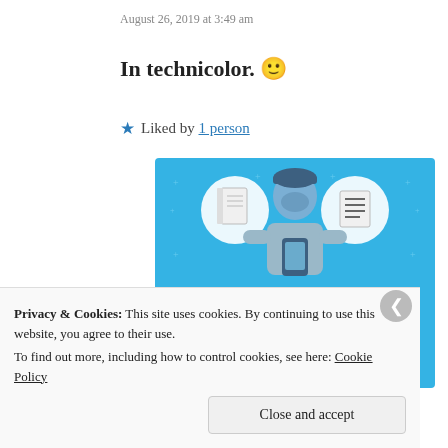August 26, 2019 at 3:49 am
In technicolor. 🙂
★ Liked by 1 person
[Figure (illustration): Day One journaling app advertisement. Blue background with illustration of a person holding a phone, with a notebook and a list icon in circles above. Text reads 'DAY ONE – The only journaling app you'll ever need.' with a 'Get the app' button.]
Privacy & Cookies: This site uses cookies. By continuing to use this website, you agree to their use.
To find out more, including how to control cookies, see here: Cookie Policy
Close and accept